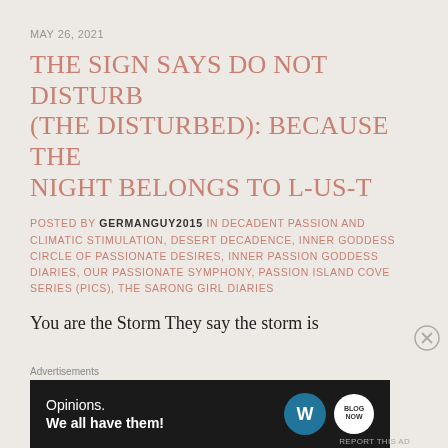MAY 26, 2021
THE SIGN SAYS DO NOT DISTURB (THE DISTURBED): BECAUSE THE NIGHT BELONGS TO L-US-T
POSTED BY GERMANGUY2015 IN DECADENT PASSION AND CLIMATIC STIMULATION, DESERT DECADENCE, INNER GODDESS CIRCLE OF PASSIONATE DESIRES, INNER PASSION GODDESS DIARIES, OUR PASSIONATE SYMPHONY, PASSION ISLAND COVE SERIES (PICS), THE SARONG GIRL DIARIES
You are the Storm They say the storm is
[Figure (other): Advertisement banner: Opinions. We all have them! with WordPress and another logo on dark background]